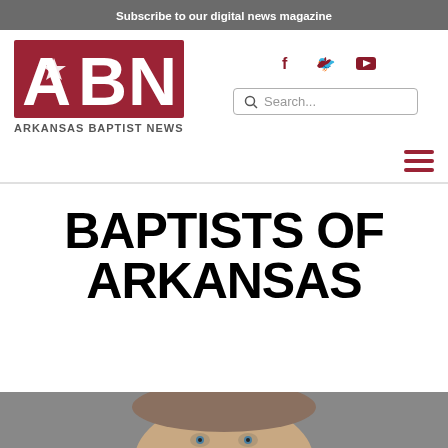Subscribe to our digital news magazine
[Figure (logo): Arkansas Baptist News (ABN) logo — bold red letters ABN with star in A, subtitle ARKANSAS BAPTIST NEWS in gray]
[Figure (infographic): Social media icons: Facebook (f), Twitter (bird), YouTube (play button) in dark red]
[Figure (infographic): Search bar with magnifying glass icon and placeholder text 'Search...']
[Figure (infographic): Hamburger menu icon (three horizontal red lines) on the right side]
BAPTISTS OF ARKANSAS
[Figure (photo): Partial photo of a person's face visible at the bottom of the page, gray background]